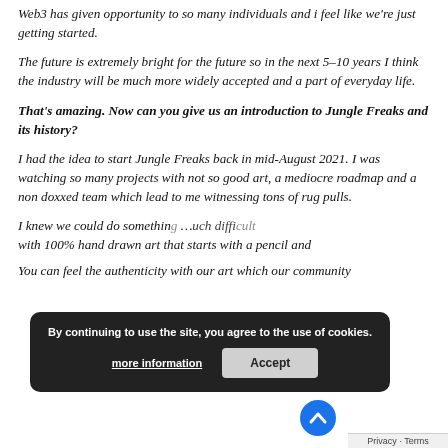Web3 has given opportunity to so many individuals and i feel like we're just getting started.
The future is extremely bright for the future so in the next 5–10 years I think the industry will be much more widely accepted and a part of everyday life.
That's amazing. Now can you give us an introduction to Jungle Freaks and its history?
I had the idea to start Jungle Freaks back in mid-August 2021. I was watching so many projects with not so good art, a mediocre roadmap and a non doxxed team which lead to me witnessing tons of rug pulls.
I knew we could do somethin … uch diffi … with 100% hand drawn art that starts with a pencil and …
You can feel the authenticity with our art which our community…
By continuing to use the site, you agree to the use of cookies.
more information
Accept